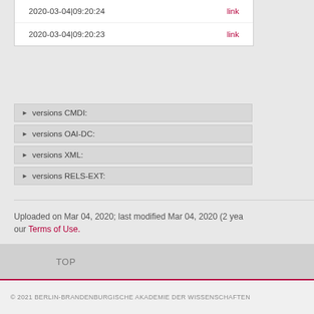| Date | Link |
| --- | --- |
| 2020-03-04|09:20:24 | link |
| 2020-03-04|09:20:23 | link |
▶ versions CMDI:
▶ versions OAI-DC:
▶ versions XML:
▶ versions RELS-EXT:
Uploaded on Mar 04, 2020; last modified Mar 04, 2020 (2 years ago). By uploading, you agree to our Terms of Use.
TOP
© 2021 BERLIN-BRANDENBURGISCHE AKADEMIE DER WISSENSCHAFTEN